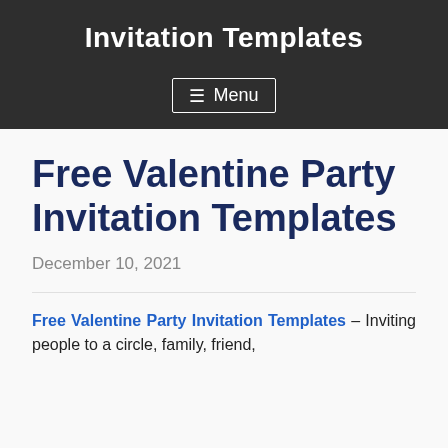Invitation Templates
≡ Menu
Free Valentine Party Invitation Templates
December 10, 2021
Free Valentine Party Invitation Templates – Inviting people to a circle, family, friend,